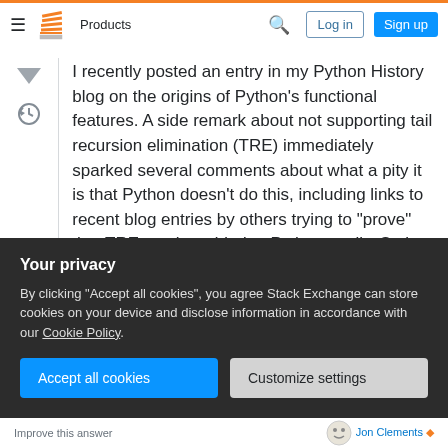≡  [Stack Overflow logo]  Products  🔍  Log in  Sign up
I recently posted an entry in my Python History blog on the origins of Python's functional features. A side remark about not supporting tail recursion elimination (TRE) immediately sparked several comments about what a pity it is that Python doesn't do this, including links to recent blog entries by others trying to "prove" that TRE can be added to Python easily. So let me defend my position (which is that I don't want TRE
Your privacy
By clicking "Accept all cookies", you agree Stack Exchange can store cookies on your device and disclose information in accordance with our Cookie Policy.
Accept all cookies   Customize settings
Improve this answer   Jon Clements ♦